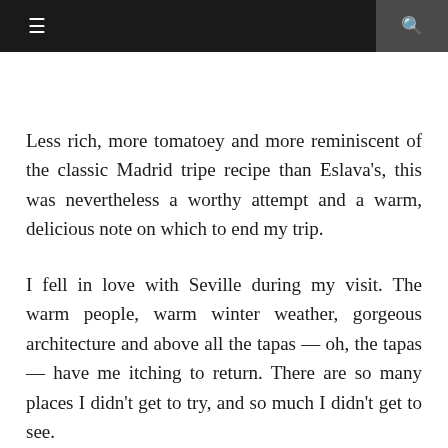≡  🔍
Less rich, more tomatoey and more reminiscent of the classic Madrid tripe recipe than Eslava's, this was nevertheless a worthy attempt and a warm, delicious note on which to end my trip.
I fell in love with Seville during my visit. The warm people, warm winter weather, gorgeous architecture and above all the tapas — oh, the tapas — have me itching to return. There are so many places I didn't get to try, and so much I didn't get to see.